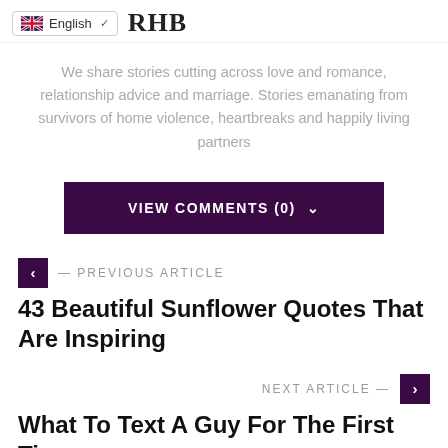English  RHB
We share stories cutting across love and romance, relationship advice and marriage. Stories emanating from survivors of home violence, heartbreaks and happily living partners
VIEW COMMENTS (0)
— PREVIOUS ARTICLE
43 Beautiful Sunflower Quotes That Are Inspiring
NEXT ARTICLE —
What To Text A Guy For The First Time